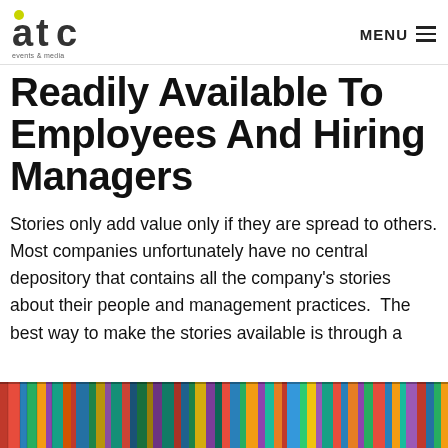atc events & media | MENU
Readily Available To Employees And Hiring Managers
Stories only add value only if they are spread to others. Most companies unfortunately have no central depository that contains all the company's stories about their people and management practices.  The best way to make the stories available is through a
[Figure (photo): Bookshelf filled with colorful books arranged on multiple shelves]